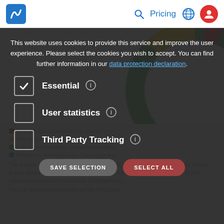Logo | Search | Pricing | Globe | User icon
[Figure (donut-chart): Partial donut chart visible at top of page, showing green (large segment), red (small segment top right), and yellow (medium segment right) sections]
This website uses cookies to provide this service and improve the user experience. Please select the cookies you wish to accept. You can find further information in our data protection declaration.
Essential (checked)
User statistics (unchecked)
Third Party Tracking (unchecked)